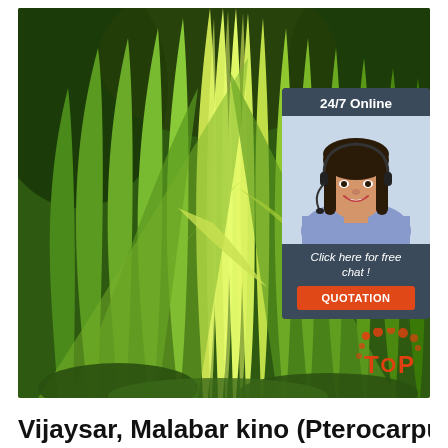[Figure (photo): Photo of tall grass-like green and yellow-green plant (Vijaysar / Malabar kino / Pterocarpus) with an overlaid customer service chat widget showing a woman with headset, '24/7 Online' header, 'Click here for free chat!' text, QUOTATION button, and a TOP badge in the bottom right corner.]
Vijaysar, Malabar kino (Pterocarpus